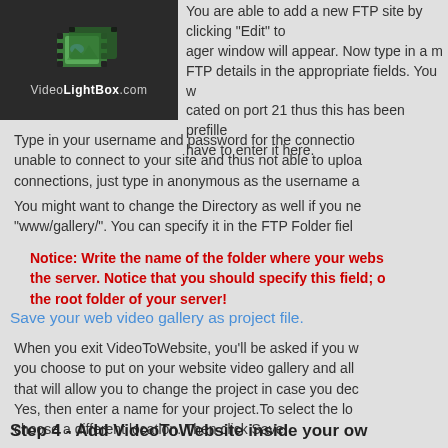[Figure (logo): VideoLightBox.com logo with film strip icon on dark background]
You are able to add a new FTP site by clicking "Edit" to ager window will appear. Now type in a m FTP details in the appropriate fields. You w cated on port 21 thus this has been prefille have to enter it here.
Type in your username and password for the connection. unable to connect to your site and thus not able to uploa connections, just type in anonymous as the username a
You might want to change the Directory as well if you ne "www/gallery/". You can specify it in the FTP Folder fiel
Notice: Write the name of the folder where your webs the server. Notice that you should specify this field; o the root folder of your server!
Save your web video gallery as project file.
When you exit VideoToWebsite, you'll be asked if you w you choose to put on your website video gallery and all that will allow you to change the project in case you dec Yes, then enter a name for your project.To select the lo choose a different location. Then click Save.
Step 4 - Add VideoToWebsite inside your ow